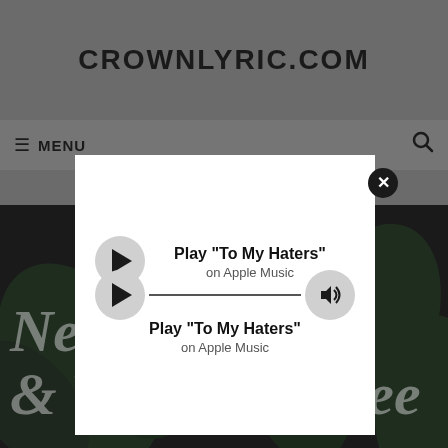CROWNLYRIC.COM
☰ MENU
[Figure (screenshot): Apple Music player modal with play button, progress bar, volume button, showing 'Play "To My Haters" on Apple Music'. Close (X) button in top right corner of modal.]
Ne... ...in & WhoGangDee – To My Haters